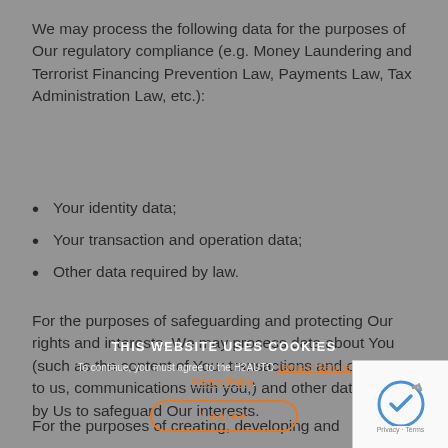We may process the following data for the purposes of Our regulatory compliance (e.g. Money Laundering and Terrorist Financing Prevention Law, Payments Law, Tax Administration Law, etc.):
Your identity data;
Your transaction and operation data;
Other data required by law.
For the purposes of safeguarding and protecting Our rights and interests, We may process data about You (such as the content of Your transactions and obligations to us, communications with you,) and other data required by Us to safeguard Our interests.
For the purposes of creating, developing and
THIS WEBSITE USES COOKIES
To continue, you must agree to the H2AUTO Terms of Service and Privacy Policy.
I agree